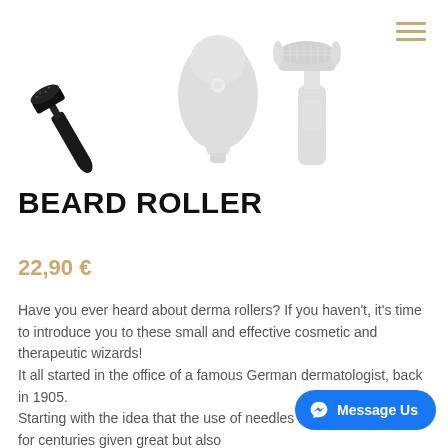[Figure (photo): Three derma roller / beard roller cosmetic tools against a white background. Left: a small black derma roller. Center: a gray faded larger roller device. Right: a gray faded derma roller with a cylindrical needle head.]
BEARD ROLLER
22,90 €
Have you ever heard about derma rollers? If you haven't, it's time to introduce you to these small and effective cosmetic and therapeutic wizards!
It all started in the office of a famous German dermatologist, back in 1905.
Starting with the idea that the use of needles in acupuncture has for centuries given great but also